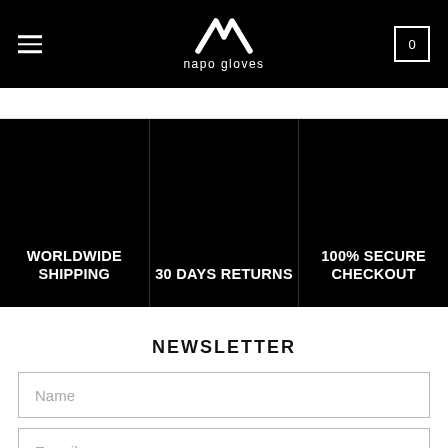napo gloves
[Figure (infographic): Three promotional banners on black background: WORLDWIDE SHIPPING | 30 DAYS RETURNS | 100% SECURE CHECKOUT]
NEWSLETTER
Name
E-mail